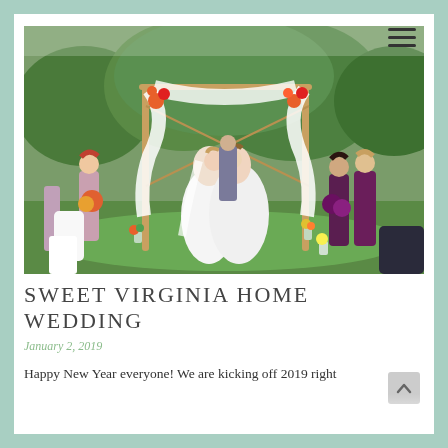[Figure (photo): Outdoor wedding ceremony photo showing two brides kissing under a rustic bamboo arch decorated with white draping and colorful flowers. Bridesmaids in mauve/dusty rose and deep burgundy/plum dresses stand on either side holding bouquets. An officiant stands behind. Green trees in background.]
SWEET VIRGINIA HOME WEDDING
January 2, 2019
Happy New Year everyone! We are kicking off 2019 right with a sweet Virginia home wedding to share today! In